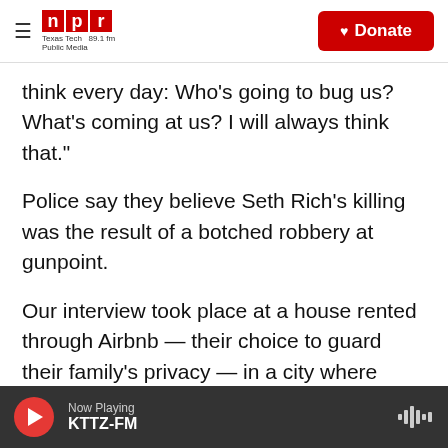NPR — Texas Tech Public Media 89.1 fm | Donate
think every day: Who's going to bug us? What's coming at us? I will always think that."
Police say they believe Seth Rich's killing was the result of a botched robbery at gunpoint.
Our interview took place at a house rented through Airbnb — their choice to guard their family's privacy — in a city where they've bought a second home. They are sincere, unpolished, warm, giving me a hug as we meet in person for the first time. They sit side by side on a plush couch, looking at one another fondly, and sometimes sadly, as they
Now Playing KTTZ-FM